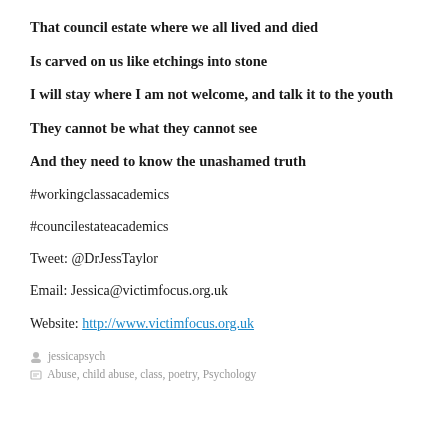That council estate where we all lived and died
Is carved on us like etchings into stone
I will stay where I am not welcome, and talk it to the youth
They cannot be what they cannot see
And they need to know the unashamed truth
#workingclassacademics
#councilestateacademics
Tweet: @DrJessTaylor
Email: Jessica@victimfocus.org.uk
Website: http://www.victimfocus.org.uk
jessicapsych
Abuse, child abuse, class, poetry, Psychology